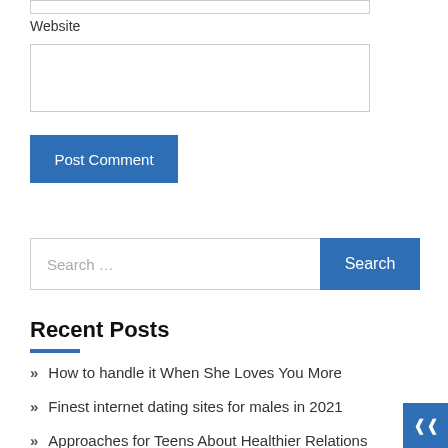Website
Post Comment
Search …
Recent Posts
How to handle it When She Loves You More
Finest internet dating sites for males in 2021
Approaches for Teens About Healthier Relations